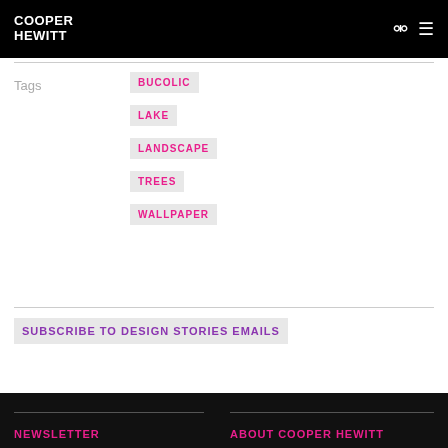COOPER HEWITT
Tags
BUCOLIC
LAKE
LANDSCAPE
TREES
WALLPAPER
SUBSCRIBE TO DESIGN STORIES EMAILS
NEWSLETTER   ABOUT COOPER HEWITT